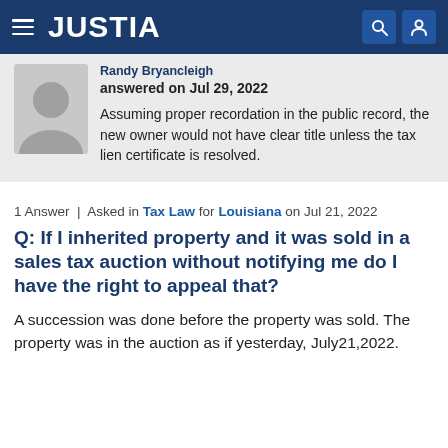JUSTIA
answered on Jul 29, 2022
Assuming proper recordation in the public record, the new owner would not have clear title unless the tax lien certificate is resolved.
1 Answer | Asked in Tax Law for Louisiana on Jul 21, 2022
Q: If I inherited property and it was sold in a sales tax auction without notifying me do I have the right to appeal that?
A succession was done before the property was sold. The property was in the auction as if yesterday, July21,2022.